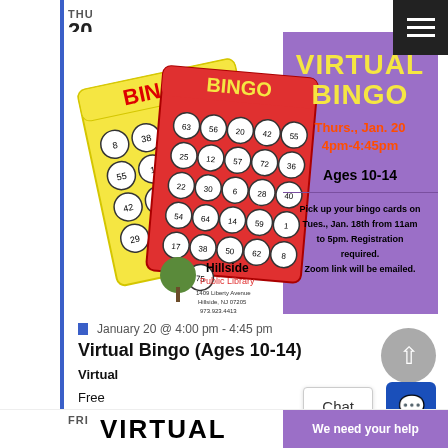THU 20
[Figure (illustration): Virtual Bingo event flyer with bingo cards illustration on white/purple background. Text: VIRTUAL BINGO, Thurs., Jan. 20, 4pm-4:45pm, Ages 10-14. Pick up your bingo cards on Tues., Jan. 18th from 11am to 5pm. Registration required. Zoom link will be emailed. Hillside Public Library logo, www.hillsidepl.org, @hillsidepl]
January 20 @ 4:00 pm - 4:45 pm
Virtual Bingo (Ages 10-14)
Virtual
Free
FRI
VIRTUAL
We need your help